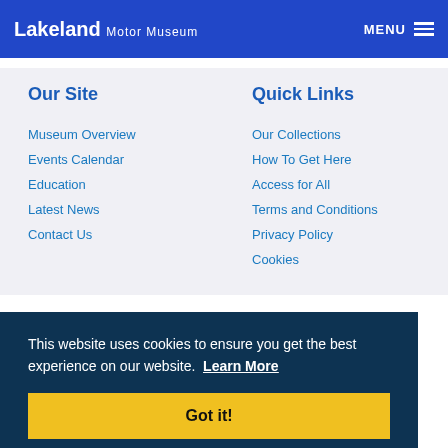Lakeland Motor Museum | MENU
Our Site
Museum Overview
Events Calendar
Education
Latest News
Contact Us
Quick Links
Our Collections
How To Get Here
Access for All
Terms and Conditions
Privacy Policy
Cookies
This website uses cookies to ensure you get the best experience on our website. Learn More
Got it!